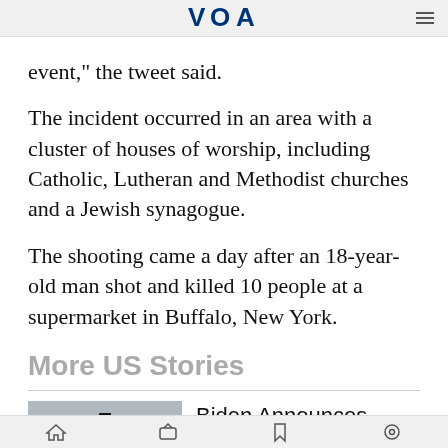VOA
event," the tweet said.
The incident occurred in an area with a cluster of houses of worship, including Catholic, Lutheran and Methodist churches and a Jewish synagogue.
The shooting came a day after an 18-year-old man shot and killed 10 people at a supermarket in Buffalo, New York.
More US Stories
[Figure (photo): Aerial view of a graduation ceremony with students in red gowns and caps]
Biden Announces Long-Awaited Student Debt
Navigation bar with icons